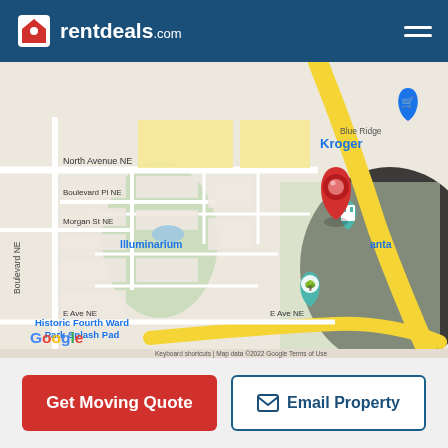rentdeals.com
[Figure (map): Google Maps screenshot showing area around Historic Fourth Ward Park in Atlanta, GA. Features a red location pin near Illuminarium Atlanta, nearby landmarks including Kroger, Historic Fourth Ward Park Splash Pad, Jimmy Carter Presidential Library and Museum, Historic Fourth Ward Skatepark, a mano restaurant, Barcelona Wine Bar. Street labels include North Avenue NE, Boulevard NE, Boulevard Pl NE, Morgan St NE, E Ave NE. Map data ©2022 Google. Zoom controls (+/-) visible on right side.]
Get Moving Quote
Email Property